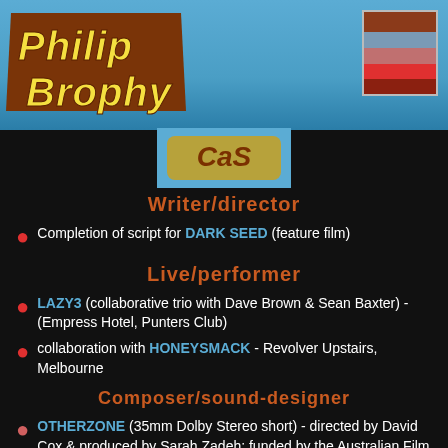[Figure (logo): Philip Brophy logo with yellow italic text on brown background]
[Figure (illustration): Color swatch box with brown, gray-blue, pink/salmon, and red stripes]
[Figure (illustration): Small image/logo area in blue showing stylized text]
Writer/director
Completion of script for DARK SEED (feature film)
Live/performer
LAZY3 (collaborative trio with Dave Brown & Sean Baxter) - (Empress Hotel, Punters Club)
collaboration with HONEYSMACK - Revolver Upstairs, Melbourne
Composer/sound-designer
OTHERZONE (35mm Dolby Stereo short) - directed by David Cox & produced by Sarah Zadeh; funded by the Australian Film